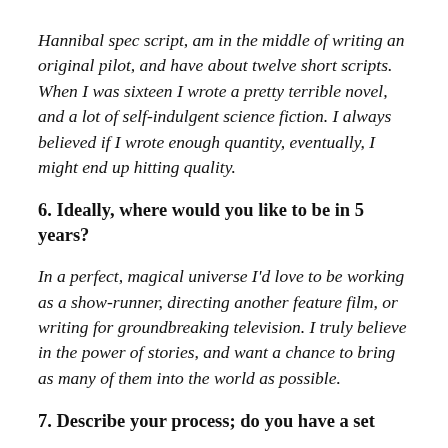Hannibal spec script, am in the middle of writing an original pilot, and have about twelve short scripts. When I was sixteen I wrote a pretty terrible novel, and a lot of self-indulgent science fiction. I always believed if I wrote enough quantity, eventually, I might end up hitting quality.
6. Ideally, where would you like to be in 5 years?
In a perfect, magical universe I'd love to be working as a show-runner, directing another feature film, or writing for groundbreaking television. I truly believe in the power of stories, and want a chance to bring as many of them into the world as possible.
7. Describe your process; do you have a set